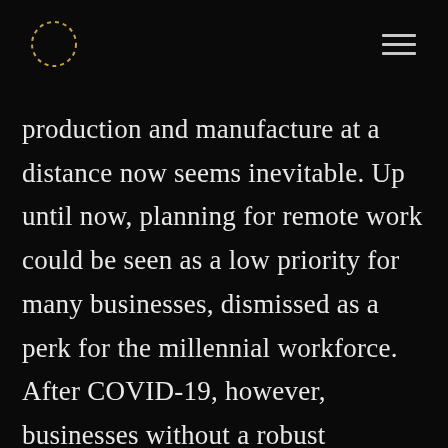[logo circle] [hamburger menu]
production and manufacture at a distance now seems inevitable. Up until now, planning for remote work could be seen as a low priority for many businesses, dismissed as a perk for the millennial workforce. After COVID-19, however, businesses without a robust company-wide remote work plan, one that can be actioned on short notice, will be